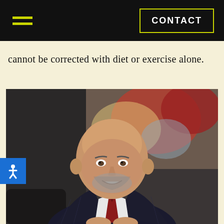CONTACT
cannot be corrected with diet or exercise alone.
[Figure (photo): Professional headshot of a bald, bearded man in a dark pinstripe suit with a red tie, smiling, seated in front of an abstract colorful painting background.]